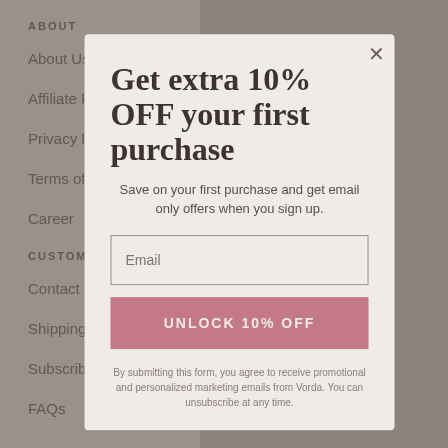ABOUT
About Us
Affiliate Program
Privacy Policy
Terms of Service
Career
CUSTOMER SERVICE
Contact Us
Shipping & Returns
Subscribe & Save
FAQs
Get extra 10% OFF your first purchase
Save on your first purchase and get email only offers when you sign up.
Email
UNLOCK 10% OFF
By submitting this form, you agree to receive promotional and personalized marketing emails from Vorda. You can unsubscribe at any time.